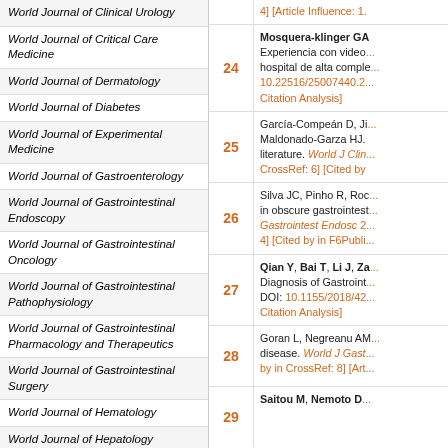World Journal of Clinical Urology
World Journal of Critical Care Medicine
World Journal of Dermatology
World Journal of Diabetes
World Journal of Experimental Medicine
World Journal of Gastroenterology
World Journal of Gastrointestinal Endoscopy
World Journal of Gastrointestinal Oncology
World Journal of Gastrointestinal Pathophysiology
World Journal of Gastrointestinal Pharmacology and Therapeutics
World Journal of Gastrointestinal Surgery
World Journal of Hematology
World Journal of Hepatology
World Journal of Hypertension
World Journal of Immunology
World Journal of Medical Genetics
| # | Reference |
| --- | --- |
| (top) | 4] [Article Influence: 1. |
| 24 | Mosquera-klinger GA Experiencia con video... hospital de alta comple... 10.22516/25007440.2... Citation Analysis] |
| 25 | García-Compeán D, Ji... Maldonado-Garza HJ. literature. World J Clin... CrossRef: 6] [Cited by |
| 26 | Silva JC, Pinho R, Roc... in obscure gastrointest... Gastrointest Endosc 2... 4] [Cited by in F6Publi... |
| 27 | Qian Y, Bai T, Li J, Za... Diagnosis of Gastroint... DOI: 10.1155/2018/42... Citation Analysis] |
| 28 | Goran L, Negreanu AM... disease. World J Gast... by in CrossRef: 8] [Art... |
| 29 | Saitou M, Nemoto D... |